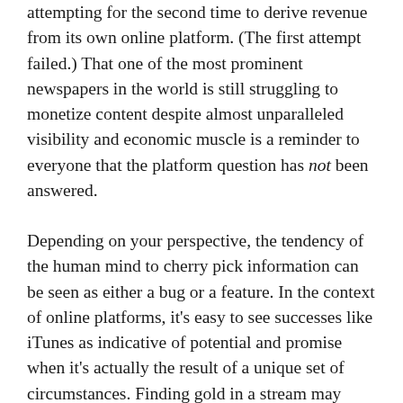attempting for the second time to derive revenue from its own online platform. (The first attempt failed.) That one of the most prominent newspapers in the world is still struggling to monetize content despite almost unparalleled visibility and economic muscle is a reminder to everyone that the platform question has not been answered.
Depending on your perspective, the tendency of the human mind to cherry pick information can be seen as either a bug or a feature. In the context of online platforms, it's easy to see successes like iTunes as indicative of potential and promise when it's actually the result of a unique set of circumstances. Finding gold in a stream may spark a gold rush, but only a few people will stake claims that literally pan out. The internet is no